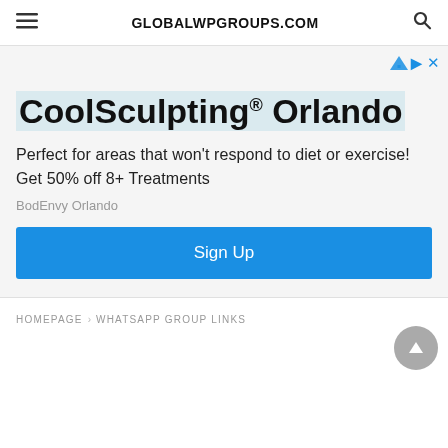GLOBALWPGROUPS.COM
[Figure (screenshot): Advertisement banner for CoolSculpting Orlando with heading, subtext, brand name BodEnvy Orlando, and a blue Sign Up button]
HOMEPAGE › WHATSAPP GROUP LINKS